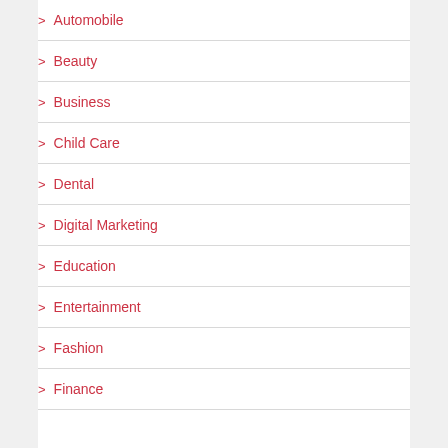> Automobile
> Beauty
> Business
> Child Care
> Dental
> Digital Marketing
> Education
> Entertainment
> Fashion
> Finance